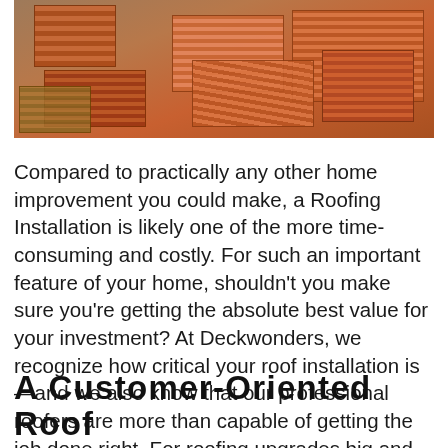[Figure (photo): Aerial or overhead view of orange/terracotta roof tiles stacked in groups on a surface, showing roofing materials.]
Compared to practically any other home improvement you could make, a Roofing Installation is likely one of the more time-consuming and costly. For such an important feature of your home, shouldn't you make sure you're getting the absolute best value for your investment? At Deckwonders, we recognize how critical your roof installation is—and we also know that our professional roofers are more than capable of getting the job done right. For roofing upgrades big and small, you can count on us!
A Customer-Oriented Roof Installation Company